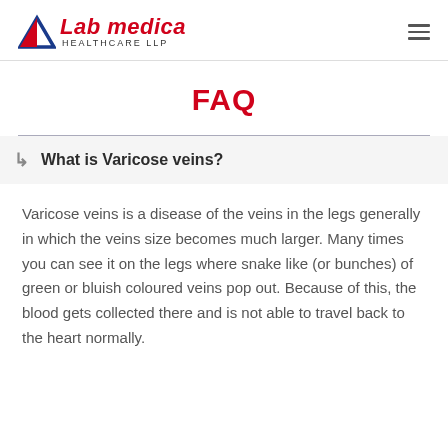Lab medica HEALTHCARE LLP
FAQ
What is Varicose veins?
Varicose veins is a disease of the veins in the legs generally in which the veins size becomes much larger. Many times you can see it on the legs where snake like (or bunches) of green or bluish coloured veins pop out. Because of this, the blood gets collected there and is not able to travel back to the heart normally.